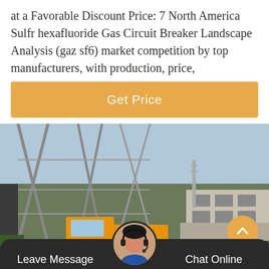at a Favorable Discount Price: 7 North America Sulfr hexafluoride Gas Circuit Breaker Landscape Analysis (gaz sf6) market competition by top manufacturers, with production, price,
Get Price
[Figure (photo): Industrial electrical substation with large steel lattice structures and high-voltage equipment, with an orange truck parked in the foreground and a building in the background under a partly cloudy sky.]
Leave Message
Chat Online